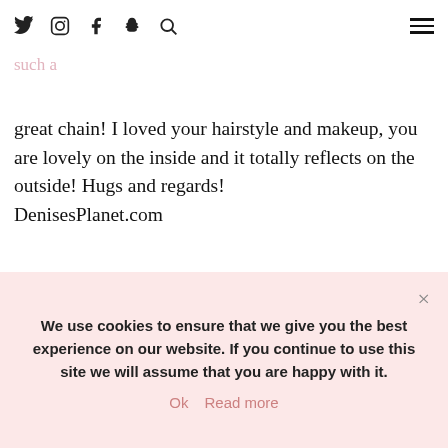Twitter Instagram Facebook Snapchat Search [hamburger menu]
can go here nowadays, but it takes some good minutes and I was in a hurry! 100 locations all over the country, such a great chain! I loved your hairstyle and makeup, you are lovely on the inside and it totally reflects on the outside! Hugs and regards!
DenisesPlanet.com
REPLY
WHATWOULDVWEAR
AUTHOR
JUNE 13, 2016 / 10:12 AM
Aww, Denise! You’re the sweetest! I can’t wait to see your braid! Love you!
We use cookies to ensure that we give you the best experience on our website. If you continue to use this site we will assume that you are happy with it.
Ok   Read more